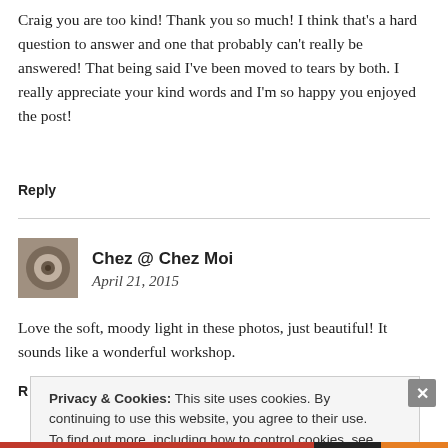Craig you are too kind! Thank you so much! I think that's a hard question to answer and one that probably can't really be answered! That being said I've been moved to tears by both. I really appreciate your kind words and I'm so happy you enjoyed the post!
Reply
[Figure (photo): Small avatar photo of a circular metallic object]
Chez @ Chez Moi
April 21, 2015
Love the soft, moody light in these photos, just beautiful! It sounds like a wonderful workshop.
Privacy & Cookies: This site uses cookies. By continuing to use this website, you agree to their use.
To find out more, including how to control cookies, see here:
Cookie Policy
Close and accept